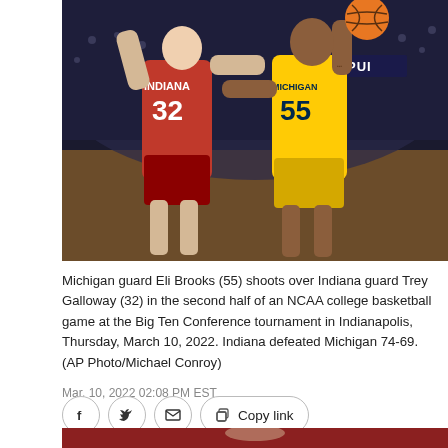[Figure (photo): Basketball action photo: Michigan guard Eli Brooks (#55, yellow jersey) shooting over Indiana guard Trey Galloway (#32, red jersey) during an NCAA college basketball game.]
Michigan guard Eli Brooks (55) shoots over Indiana guard Trey Galloway (32) in the second half of an NCAA college basketball game at the Big Ten Conference tournament in Indianapolis, Thursday, March 10, 2022. Indiana defeated Michigan 74-69. (AP Photo/Michael Conroy)
Mar. 10, 2022 02:08 PM EST
[Figure (photo): Partial view of a second basketball photo at the bottom of the page.]